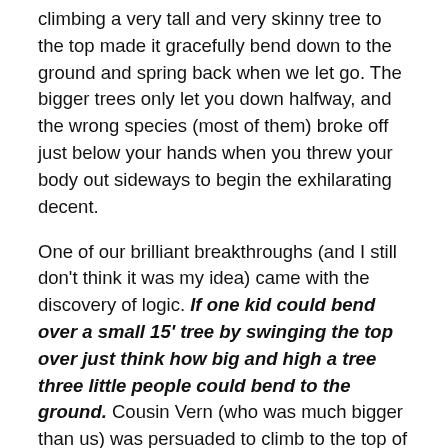climbing a very tall and very skinny tree to the top made it gracefully bend down to the ground and spring back when we let go. The bigger trees only let you down halfway, and the wrong species (most of them) broke off just below your hands when you threw your body out sideways to begin the exhilarating decent.
One of our brilliant breakthroughs (and I still don't think it was my idea) came with the discovery of logic. If one kid could bend over a small 15' tree by swinging the top over just think how big and high a tree three little people could bend to the ground. Cousin Vern (who was much bigger than us) was persuaded to climb to the top of the “perfect” monster tree first while two of us followed. Giddy with excitement we counted to three and threw our bodies sideways towards the setting sun. The familiar “Crack” of breaking wood had all three of us